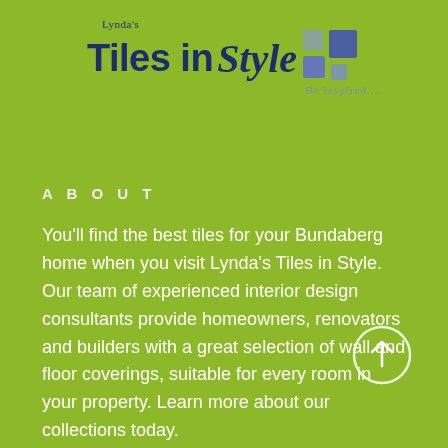[Figure (logo): Lynda's Tiles in Style logo with decorative tile squares and tagline 'Be inspired....']
ABOUT
You'll find the best tiles for your Bundaberg home when you visit Lynda's Tiles in Style. Our team of experienced interior design consultants provide homeowners, renovators and builders with a great selection of wall and floor coverings, suitable for every room in your property. Learn more about our collections today.
[Figure (illustration): Circular up-arrow button icon in white outline on green background]